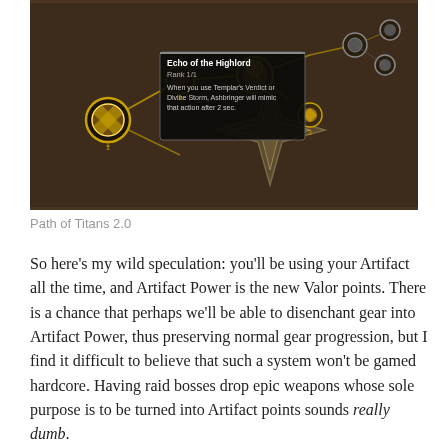[Figure (screenshot): World of Warcraft artifact talent tree screenshot showing 'Echo of the Highlord' tooltip, Rank 1/1. Tooltip reads: 'When you use Templar's Verdict or Divine Storm, Ashbringer will mimic that action after 2 sec.' Dark fantasy UI with golden talent nodes connected by glowing lines.]
Path of Titans 2.0
So here's my wild speculation: you'll be using your Artifact all the time, and Artifact Power is the new Valor points. There is a chance that perhaps we'll be able to disenchant gear into Artifact Power, thus preserving normal gear progression, but I find it difficult to believe that such a system won't be gamed hardcore. Having raid bosses drop epic weapons whose sole purpose is to be turned into Artifact points sounds really dumb.